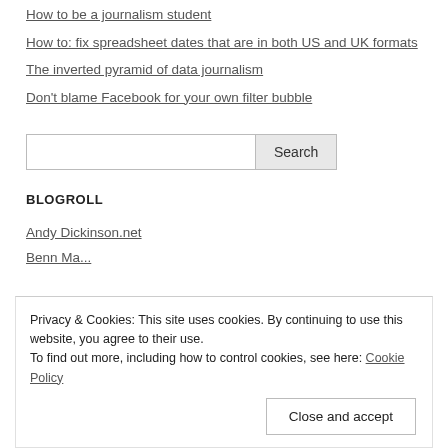How to be a journalism student
How to: fix spreadsheet dates that are in both US and UK formats
The inverted pyramid of data journalism
Don't blame Facebook for your own filter bubble
BLOGROLL
Andy Dickinson.net
Privacy & Cookies: This site uses cookies. By continuing to use this website, you agree to their use.
To find out more, including how to control cookies, see here: Cookie Policy
Close and accept